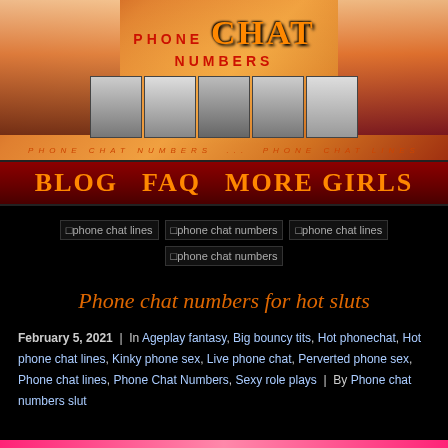[Figure (illustration): Website header banner with orange/red gradient background, decorative scrollwork, photos of women on left and right sides, five black-and-white thumbnail photos in the center strip, and text 'PHONE CHAT NUMBERS' with subtitle 'PHONE CHAT NUMBERS ... PHONE CHAT LINES']
BLOG  FAQ  MORE GIRLS
[Figure (photo): Four broken/missing image placeholders with alt texts: 'phone chat lines', 'phone chat numbers', 'phone chat lines', 'phone chat numbers']
Phone chat numbers for hot sluts
February 5, 2021  |  In Ageplay fantasy, Big bouncy tits, Hot phonechat, Hot phone chat lines, Kinky phone sex, Live phone chat, Perverted phone sex, Phone chat lines, Phone Chat Numbers, Sexy role plays  |  By Phone chat numbers slut